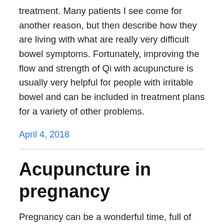treatment. Many patients I see come for another reason, but then describe how they are living with what are really very difficult bowel symptoms. Fortunately, improving the flow and strength of Qi with acupuncture is usually very helpful for people with irritable bowel and can be included in treatment plans for a variety of other problems.
April 4, 2018
Acupuncture in pregnancy
Pregnancy can be a wonderful time, full of energy and joy, but sometimes problems threaten to spoil the full enjoyment of the event. Maybe everyone else is celebrating your pregnancy but morning sickness is making you feel like death warmed up. Or you are low and